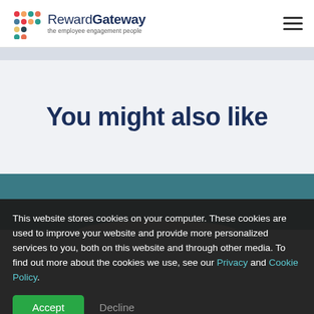Reward Gateway — the employee engagement people
You might also like
[Figure (photo): Teal/blue-green background with a round flat bread or cookie object partially visible at the bottom center of the section]
This website stores cookies on your computer. These cookies are used to improve your website and provide more personalized services to you, both on this website and through other media. To find out more about the cookies we use, see our Privacy and Cookie Policy.